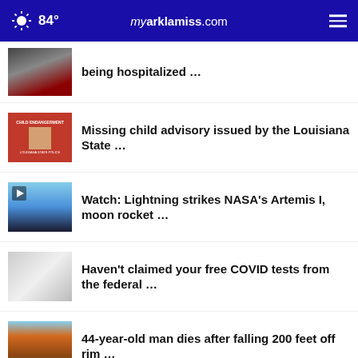84° myarklamiss.com
being hospitalized …
Missing child advisory issued by the Louisiana State …
Watch: Lightning strikes NASA's Artemis I, moon rocket …
Haven't claimed your free COVID tests from the federal …
44-year-old man dies after falling 200 feet off rim …
More Stories ›